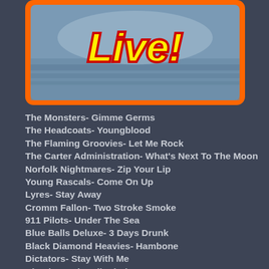[Figure (illustration): Album or show artwork with colorful 'Live!' text in yellow with red outline on a blue-grey background, surrounded by an orange border with rounded corners]
The Monsters- Gimme Germs
The Headcoats- Youngblood
The Flaming Groovies- Let Me Rock
The Carter Administration- What's Next To The Moon
Norfolk Nightmares- Zip Your Lip
Young Rascals- Come On Up
Lyres- Stay Away
Cromm Fallon- Two Stroke Smoke
911 Pilots- Under The Sea
Blue Balls Deluxe- 3 Days Drunk
Black Diamond Heavies- Hambone
Dictators- Stay With Me
Chuck Mead- Evil Wind